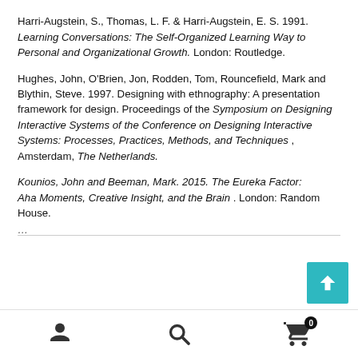Harri-Augstein, S., Thomas, L. F. & Harri-Augstein, E. S. 1991. Learning Conversations: The Self-Organized Learning Way to Personal and Organizational Growth. London: Routledge.
Hughes, John, O'Brien, Jon, Rodden, Tom, Rouncefield, Mark and Blythin, Steve. 1997. Designing with ethnography: A presentation framework for design. Proceedings of the Symposium on Designing Interactive Systems of the Conference on Designing Interactive Systems: Processes, Practices, Methods, and Techniques, Amsterdam, The Netherlands.
Kounios, John and Beeman, Mark. 2015. The Eureka Factor: Aha Moments, Creative Insight, and the Brain. London: Random House.